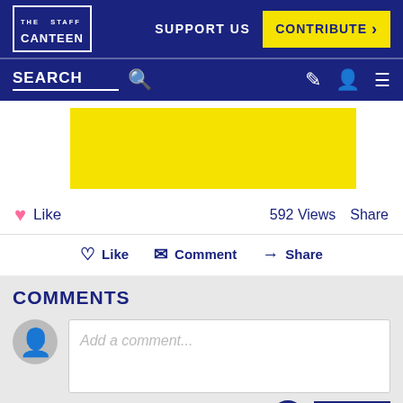THE STAFF CANTEEN | SUPPORT US | CONTRIBUTE >
SEARCH
[Figure (other): Yellow advertisement banner block]
Like   592 Views   Share
Like   Comment   Share
COMMENTS
Add a comment...